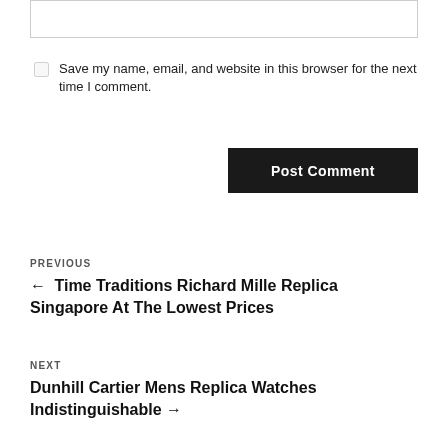[textarea box]
Save my name, email, and website in this browser for the next time I comment.
Post Comment
PREVIOUS
← Time Traditions Richard Mille Replica Singapore At The Lowest Prices
NEXT
Dunhill Cartier Mens Replica Watches Indistinguishable →